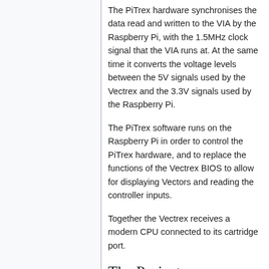The PiTrex hardware synchronises the data read and written to the VIA by the Raspberry Pi, with the 1.5MHz clock signal that the VIA runs at. At the same time it converts the voltage levels between the 5V signals used by the Vectrex and the 3.3V signals used by the Raspberry Pi.
The PiTrex software runs on the Raspberry Pi in order to control the PiTrex hardware, and to replace the functions of the Vectrex BIOS to allow for displaying Vectors and reading the controller inputs.
Together the Vectrex receives a modern CPU connected to its cartridge port.
The Project
Details on the current state of PiTrex hardware development are documented in: Hardware_Description.
Details on the current state of PiTrex low-level software development are documented in Software_Description, and higher-level applications in Software_Ports.
Plans and objectives for the project are